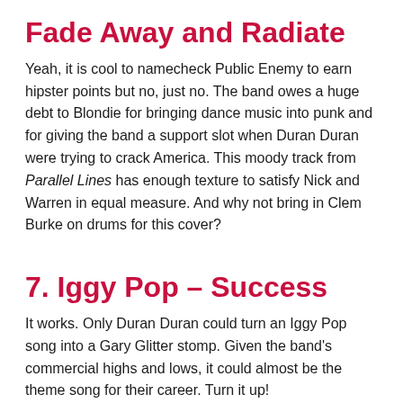Fade Away and Radiate
Yeah, it is cool to namecheck Public Enemy to earn hipster points but no, just no. The band owes a huge debt to Blondie for bringing dance music into punk and for giving the band a support slot when Duran Duran were trying to crack America. This moody track from Parallel Lines has enough texture to satisfy Nick and Warren in equal measure. And why not bring in Clem Burke on drums for this cover?
7. Iggy Pop – Success
It works. Only Duran Duran could turn an Iggy Pop song into a Gary Glitter stomp. Given the band's commercial highs and lows, it could almost be the theme song for their career. Turn it up!
8. Crystal Ship – The Neon...